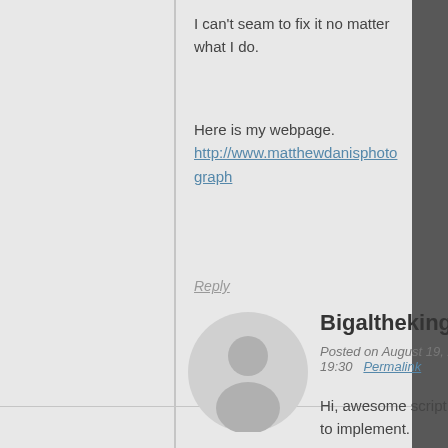I can't seam to fix it no matter what I do.
Here is my webpage.
http://www.matthewdanisphotograph
Reply
Bigaltheking
Posted on August 19, 2011 at 19:30   Permalink
Hi, awesome script. So easy to implement.
FYI, i saw someone asked about hyperlinks, just add the link to your html.
you can even build css menu